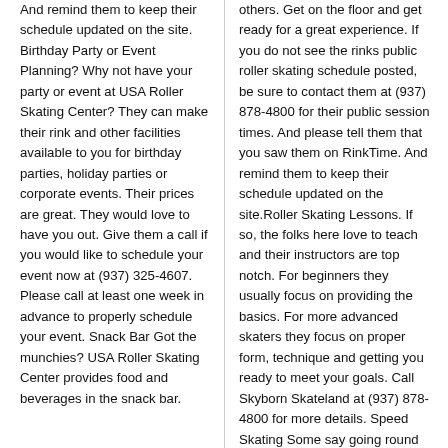And remind them to keep their schedule updated on the site. Birthday Party or Event Planning? Why not have your party or event at USA Roller Skating Center? They can make their rink and other facilities available to you for birthday parties, holiday parties or corporate events. Their prices are great. They would love to have you out. Give them a call if you would like to schedule your event now at (937) 325-4607. Please call at least one week in advance to properly schedule your event. Snack Bar Got the munchies? USA Roller Skating Center provides food and beverages in the snack bar.
others. Get on the floor and get ready for a great experience. If you do not see the rinks public roller skating schedule posted, be sure to contact them at (937) 878-4800 for their public session times. And please tell them that you saw them on RinkTime. And remind them to keep their schedule updated on the site.Roller Skating Lessons. If so, the folks here love to teach and their instructors are top notch. For beginners they usually focus on providing the basics. For more advanced skaters they focus on proper form, technique and getting you ready to meet your goals. Call Skyborn Skateland at (937) 878-4800 for more details. Speed Skating Some say going round in circles is boring – others feel the